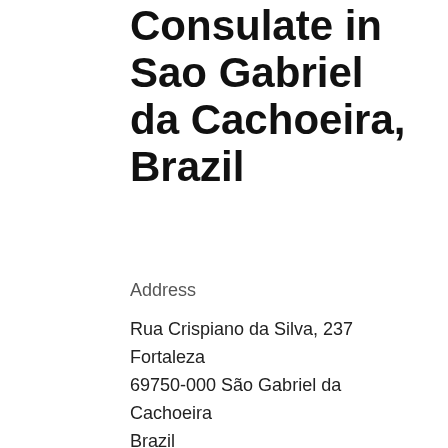Consulate in Sao Gabriel da Cachoeira, Brazil
Address
Rua Crispiano da Silva, 237
Fortaleza
69750-000 São Gabriel da
Cachoeira
Brazil